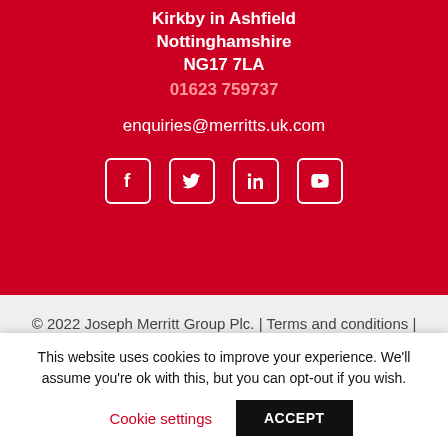Kirkby in Ashfield
Nottinghamshire
NG17 7LA
01623 759737
enquiries@merritts.uk.com
[Figure (other): Social media icons: Facebook, Twitter, LinkedIn, YouTube]
© 2022 Joseph Merritt Group Plc. | Terms and conditions | Privacy Policy
Website Design and Development by SO
This website uses cookies to improve your experience. We'll assume you're ok with this, but you can opt-out if you wish.
Cookie settings | ACCEPT